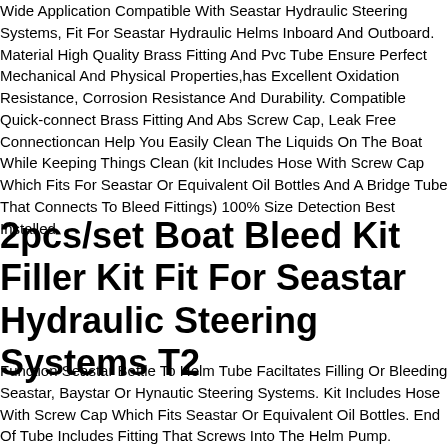Wide Application Compatible With Seastar Hydraulic Steering Systems, Fit For Seastar Hydraulic Helms Inboard And Outboard. Material High Quality Brass Fitting And Pvc Tube Ensure Perfect Mechanical And Physical Properties,has Excellent Oxidation Resistance, Corrosion Resistance And Durability. Compatible Quick-connect Brass Fitting And Abs Screw Cap, Leak Free Connectioncan Help You Easily Clean The Liquids On The Boat While Keeping Things Clean (kit Includes Hose With Screw Cap Which Fits For Seastar Or Equivalent Oil Bottles And A Bridge Tube That Connects To Bleed Fittings) 100% Size Detection Best Installed.
2pcs/set Boat Bleed Kit Filler Kit Fit For Seastar Hydraulic Steering Systems T2
Function Seastar Bottle To Helm Tube Faciltates Filling Or Bleeding Seastar, Baystar Or Hynautic Steering Systems. Kit Includes Hose With Screw Cap Which Fits Seastar Or Equivalent Oil Bottles. End Of Tube Includes Fitting That Screws Into The Helm Pump.